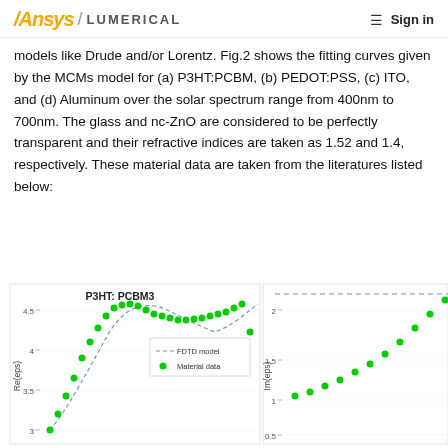Ansys / LUMERICAL  ☰ Sign in
models like Drude and/or Lorentz. Fig.2 shows the fitting curves given by the MCMs model for (a) P3HT:PCBM, (b) PEDOT:PSS, (c) ITO, and (d) Aluminum over the solar spectrum range from 400nm to 700nm. The glass and nc-ZnO are considered to be perfectly transparent and their refractive indices are taken as 1.52 and 1.4, respectively. These material data are taken from the literatures listed below:
[Figure (continuous-plot): Partial view of two graphs: left graph titled 'P3HT: PCBM3' showing Re(eps) vs wavelength with green dots (Material data) and blue dashed line (FDTD model), y-axis from ~3 to 4.5; right graph partially visible showing Im(eps) vs wavelength with green dots, y-axis from ~0.5 to 2.]